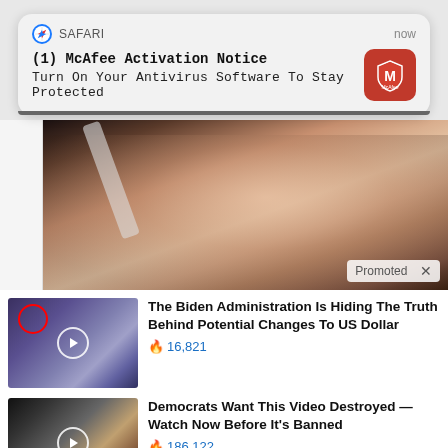[Figure (screenshot): Safari browser push notification for McAfee Activation Notice with McAfee red shield icon]
(1) McAfee Activation Notice
Turn On Your Antivirus Software To Stay Protected
[Figure (photo): Close-up photo of a woman applying something white to her face, with a Promoted badge and X close button]
Promoted X
[Figure (photo): Thumbnail of group of people in formal setting with a red circle highlighting one person, play button overlay]
The Biden Administration Is Hiding The Truth Behind Potential Changes To US Dollar
🔥 16,821
[Figure (photo): Thumbnail of a man and woman, play button overlay]
Democrats Want This Video Destroyed — Watch Now Before It's Banned
🔥 186,122